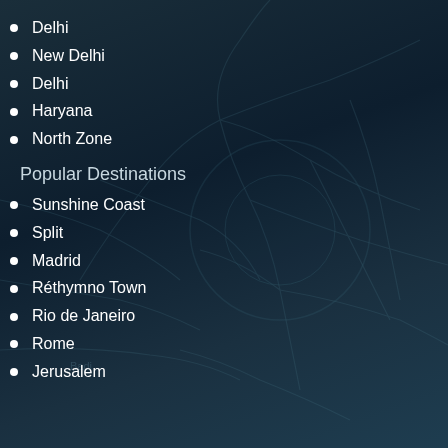Delhi
New Delhi
Delhi
Haryana
North Zone
Popular Destinations
Sunshine Coast
Split
Madrid
Réthymno Town
Rio de Janeiro
Rome
Jerusalem
[Figure (map): Map showing New Delhi and surrounding areas including Gurugram, Faridabad, Noida, Sohna, and other locations in the Delhi-NCR region. Dark blue-teal color scheme.]